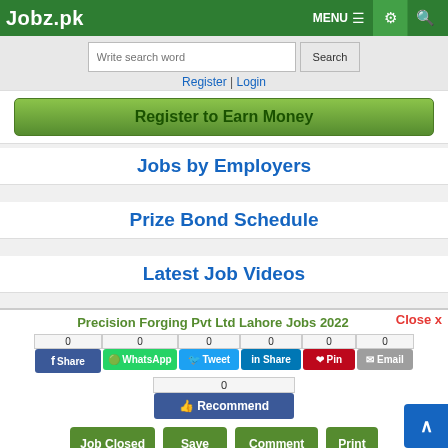Jobz.pk
Write search word
Register | Login
Register to Earn Money
Jobs by Employers
Prize Bond Schedule
Latest Job Videos
Precision Forging Pvt Ltd Lahore Jobs 2022
Close x
0 Share | 0 WhatsApp | 0 Tweet | 0 Share | 0 Pin | 0 Email
0 Recommend
Job Closed | Save | Comment | Print